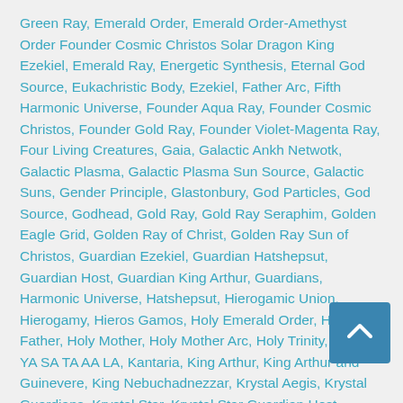Green Ray, Emerald Order, Emerald Order-Amethyst Order Founder Cosmic Christos Solar Dragon King Ezekiel, Emerald Ray, Energetic Synthesis, Eternal God Source, Eukachristic Body, Ezekiel, Father Arc, Fifth Harmonic Universe, Founder Aqua Ray, Founder Cosmic Christos, Founder Gold Ray, Founder Violet-Magenta Ray, Four Living Creatures, Gaia, Galactic Ankh Netwotk, Galactic Plasma, Galactic Plasma Sun Source, Galactic Suns, Gender Principle, Glastonbury, God Particles, God Source, Godhead, Gold Ray, Gold Ray Seraphim, Golden Eagle Grid, Golden Ray of Christ, Golden Ray Sun of Christos, Guardian Ezekiel, Guardian Hatshepsut, Guardian Host, Guardian King Arthur, Guardians, Harmonic Universe, Hatshepsut, Hierogamic Union, Hierogamy, Hieros Gamos, Holy Emerald Order, Holy Father, Holy Mother, Holy Mother Arc, Holy Trinity, KA RA YA SA TA AA LA, Kantaria, King Arthur, King Arthur and Guinevere, King Nebuchadnezzar, Krystal Aegis, Krystal Guardians, Krystal Star, Krystal Star Guardian Host, Krystallah, Krystallah Eternal Light Body, Kunda Ray, Law of Gender, Law of One, Light